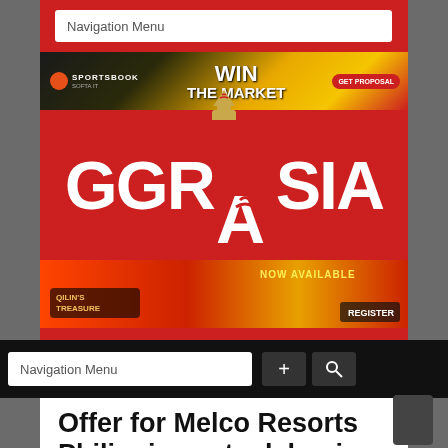Navigation Menu
[Figure (screenshot): Sportsbook advertisement banner: WIN THE MARKET with GET PROPOSAL button]
[Figure (logo): GGR Asia logo in white text on red background with trophy/goblet icon]
[Figure (screenshot): Qilin's Treasure game advertisement banner - NOW AVAILABLE]
Navigation Menu
Offer for Melco Resorts Philippines stock begins